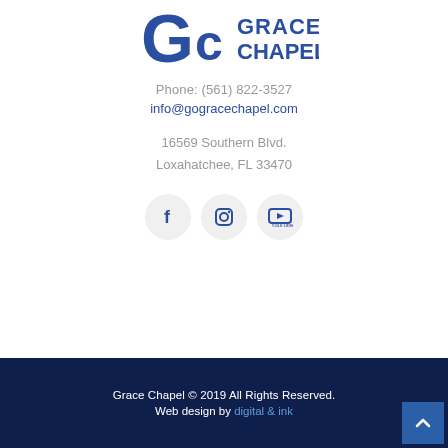[Figure (logo): Grace Chapel logo with stylized 'Gc' mark and text 'GRACE CHAPEL' in dark blue]
Phone: (561) 822-3527
info@gogracechapel.com
16569 Southern Blvd.
Loxahatchee, FL 33470
[Figure (infographic): Three social media icons: Facebook, Instagram, YouTube, each in a light grey circle]
Grace Chapel © 2019 All Rights Reserved.
Web design by digital & ink